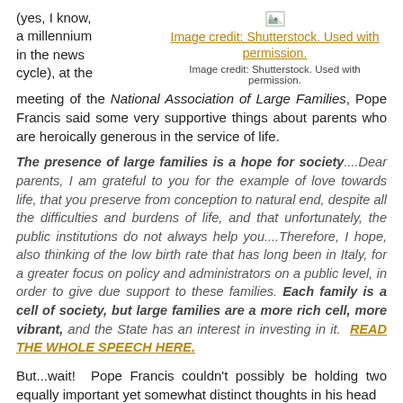(yes, I know, a millennium in the news cycle), at the meeting of the National Association of Large Families, Pope Francis said some very supportive things about parents who are heroically generous in the service of life.
[Figure (other): Broken image icon placeholder with link: Image credit: Shutterstock. Used with permission. (golden hyperlink text) and plain text below: Image credit: Shutterstock. Used with permission.]
The presence of large families is a hope for society....Dear parents, I am grateful to you for the example of love towards life, that you preserve from conception to natural end, despite all the difficulties and burdens of life, and that unfortunately, the public institutions do not always help you....Therefore, I hope, also thinking of the low birth rate that has long been in Italy, for a greater focus on policy and administrators on a public level, in order to give due support to these families. Each family is a cell of society, but large families are a more rich cell, more vibrant, and the State has an interest in investing in it. READ THE WHOLE SPEECH HERE.
But...wait! Pope Francis couldn't possibly be holding two equally important yet somewhat distinct thoughts in his head